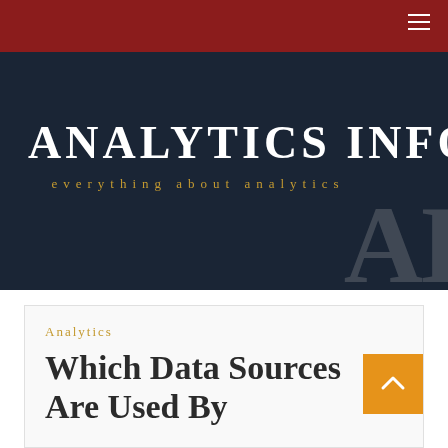[Figure (logo): Analytics Info website banner with dark navy background. Large white serif uppercase text 'ANALYTICS INFO' with golden italic subtitle 'everything about analytics' and a large grey watermark 'AI' in the bottom right corner.]
Analytics
Which Data Sources Are Used By